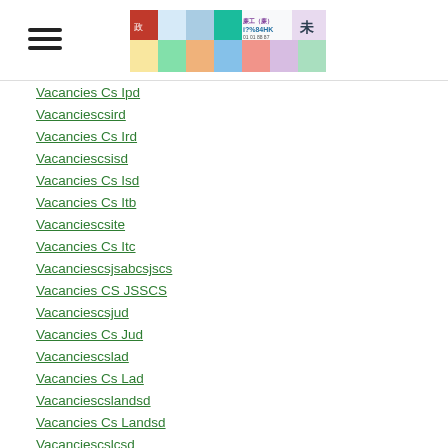Navigation header with hamburger menu and banner image
Vacancies Cs Ipd
Vacanciescsird
Vacancies Cs Ird
Vacanciescsisd
Vacancies Cs Isd
Vacancies Cs Itb
Vacanciescsite
Vacancies Cs Itc
Vacanciescsjsabcsjscs
Vacancies CS JSSCS
Vacanciescsjud
Vacancies Cs Jud
Vacanciescslad
Vacancies Cs Lad
Vacanciescslandsd
Vacancies Cs Landsd
Vacanciescslcsd
Vacancies Cs Lcsd
Vacanciescslad